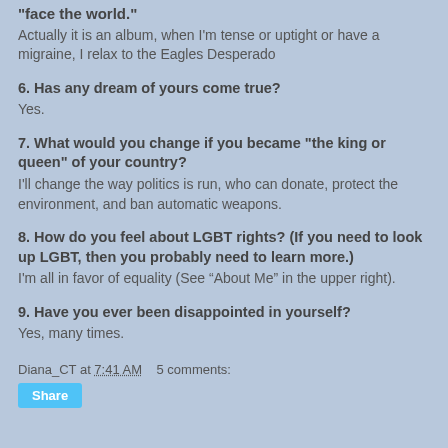"face the world."
Actually it is an album, when I'm tense or uptight or have a migraine, I relax to the Eagles Desperado
6. Has any dream of yours come true?
Yes.
7. What would you change if you became "the king or queen" of your country?
I'll change the way politics is run, who can donate, protect the environment, and ban automatic weapons.
8. How do you feel about LGBT rights? (If you need to look up LGBT, then you probably need to learn more.)
I'm all in favor of equality (See “About Me” in the upper right).
9. Have you ever been disappointed in yourself?
Yes, many times.
Diana_CT at 7:41 AM   5 comments: